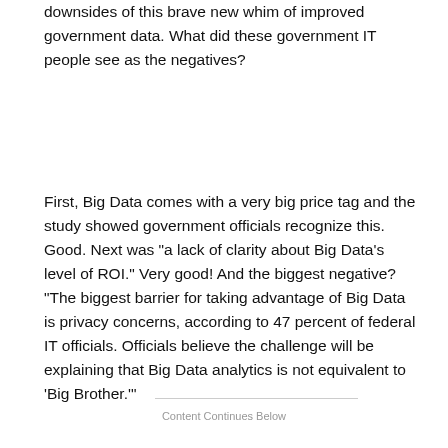downsides of this brave new whim of improved government data. What did these government IT people see as the negatives?
First, Big Data comes with a very big price tag and the study showed government officials recognize this. Good. Next was "a lack of clarity about Big Data's level of ROI." Very good! And the biggest negative? "The biggest barrier for taking advantage of Big Data is privacy concerns, according to 47 percent of federal IT officials. Officials believe the challenge will be explaining that Big Data analytics is not equivalent to 'Big Brother.'"
Content Continues Below